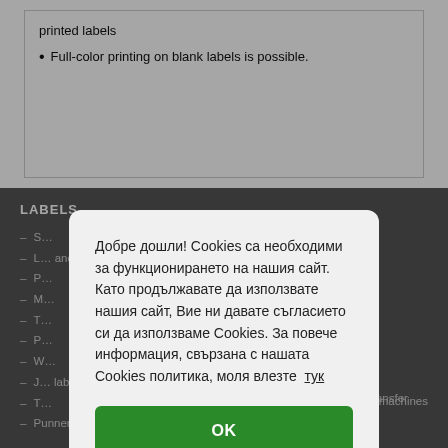printed labels
Full-color printing on blank labels is possible.
LABELS
– Wax thermal transfer ribbons
– S…
– L… and…
– P…
– M…
– T…
– P…
– W…
– J… lab…
– T…
– Punner tags
machines
Добре дошли! Cookies са необходими за функционирането на нашия сайт. Като продължавате да използвате нашия сайт, Вие ни давате съгласието си да използваме Cookies. За повече информация, свързана с нашата Cookies политика, моля влезте тук
OK